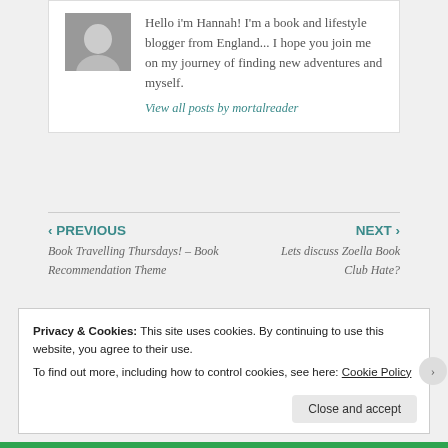Hello i'm Hannah! I'm a book and lifestyle blogger from England... I hope you join me on my journey of finding new adventures and myself.
View all posts by mortalreader
‹ PREVIOUS
Book Travelling Thursdays! – Book Recommendation Theme
NEXT ›
Lets discuss Zoella Book Club Hate?
Privacy & Cookies: This site uses cookies. By continuing to use this website, you agree to their use.
To find out more, including how to control cookies, see here: Cookie Policy
Close and accept